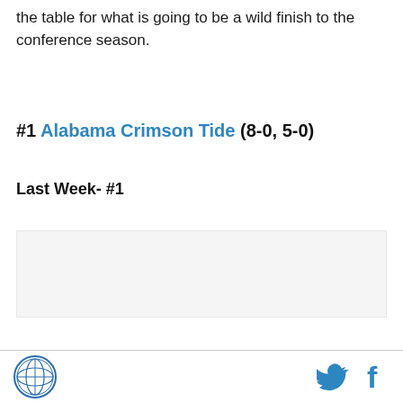the table for what is going to be a wild finish to the conference season.
#1 Alabama Crimson Tide (8-0, 5-0)
Last Week- #1
[Figure (photo): Image placeholder area (light gray background)]
Logo icon, Twitter bird icon, Facebook f icon